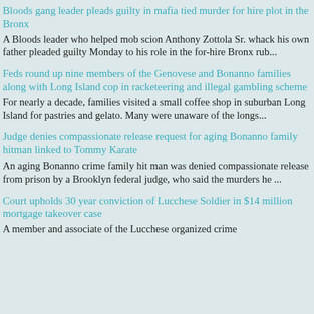Bloods gang leader pleads guilty in mafia tied murder for hire plot in the Bronx
A Bloods leader who helped mob scion Anthony Zottola Sr. whack his own father pleaded guilty Monday to his role in the for-hire Bronx rub...
Feds round up nine members of the Genovese and Bonanno families along with Long Island cop in racketeering and illegal gambling scheme
For nearly a decade, families visited a small coffee shop in suburban Long Island for pastries and gelato. Many were unaware of the longs...
Judge denies compassionate release request for aging Bonanno family hitman linked to Tommy Karate
An aging Bonanno crime family hit man was denied compassionate release from prison by a Brooklyn federal judge, who said the murders he ...
Court upholds 30 year conviction of Lucchese Soldier in $14 million mortgage takeover case
A member and associate of the Lucchese organized crime